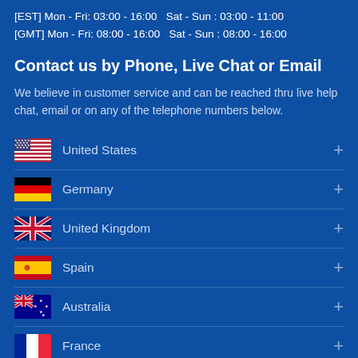[EST] Mon - Fri: 03:00 - 16:00  Sat - Sun : 03:00 - 11:00
[GMT] Mon - Fri: 08:00 - 16:00  Sat - Sun : 08:00 - 16:00
Contact us by Phone, Live Chat or Email
We believe in customer service and can be reached thru live help chat, email or on any of the telephone numbers below.
United States
Germany
United Kingdom
Spain
Australia
France